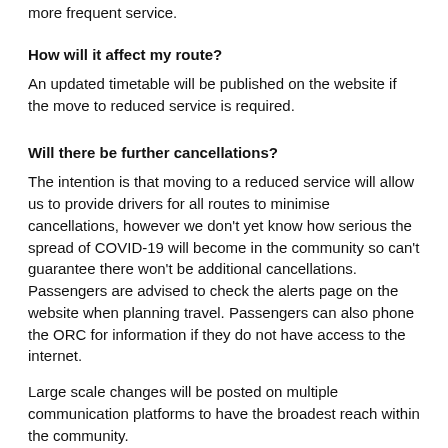more frequent service.
How will it affect my route?
An updated timetable will be published on the website if the move to reduced service is required.
Will there be further cancellations?
The intention is that moving to a reduced service will allow us to provide drivers for all routes to minimise cancellations, however we don't yet know how serious the spread of COVID-19 will become in the community so can't guarantee there won't be additional cancellations. Passengers are advised to check the alerts page on the website when planning travel. Passengers can also phone the ORC for information if they do not have access to the internet.
Large scale changes will be posted on multiple communication platforms to have the broadest reach within the community.